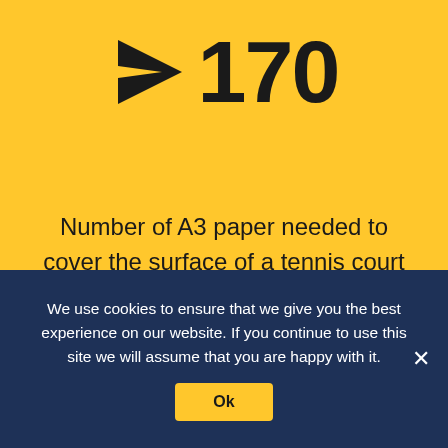170
Number of A3 paper needed to cover the surface of a tennis court (Double).
[Figure (illustration): Line drawing of a tennis court (doubles) viewed from above, showing the court outline, service boxes, baseline, net line, and center service line with a dashed center mark.]
We use cookies to ensure that we give you the best experience on our website. If you continue to use this site we will assume that you are happy with it.